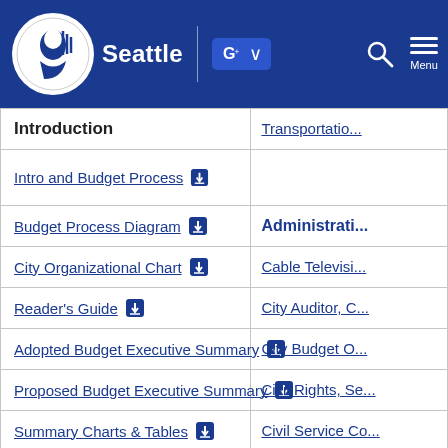Seattle — City of Seattle navigation bar with logo, translate button, search, and menu
| Introduction | Transportation / Administration |
| --- | --- |
| Intro and Budget Process [download] |  |
| Budget Process Diagram [download] | Administration |
| City Organizational Chart [download] | Cable Televisi... |
| Reader's Guide [download] | City Auditor, C... |
| Adopted Budget Executive Summary [download] | City Budget O... |
| Proposed Budget Executive Summary [download] | Civil Rights, Se... |
| Summary Charts & Tables [download] | Civil Service Co... |
| General Subfund Revenue Overview [download] | Community Po... |
| Selected Financial Policies [download] | Employees' R... |